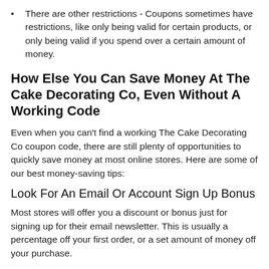There are other restrictions - Coupons sometimes have restrictions, like only being valid for certain products, or only being valid if you spend over a certain amount of money.
How Else You Can Save Money At The Cake Decorating Co, Even Without A Working Code
Even when you can't find a working The Cake Decorating Co coupon code, there are still plenty of opportunities to quickly save money at most online stores. Here are some of our best money-saving tips:
Look For An Email Or Account Sign Up Bonus
Most stores will offer you a discount or bonus just for signing up for their email newsletter. This is usually a percentage off your first order, or a set amount of money off your purchase.